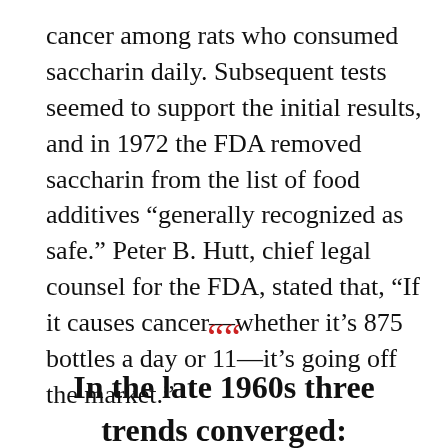cancer among rats who consumed saccharin daily. Subsequent tests seemed to support the initial results, and in 1972 the FDA removed saccharin from the list of food additives “generally recognized as safe.” Peter B. Hutt, chief legal counsel for the FDA, stated that, “If it causes cancer—whether it’s 875 bottles a day or 11—it’s going off the market.”
““ In the late 1960s three trends converged: